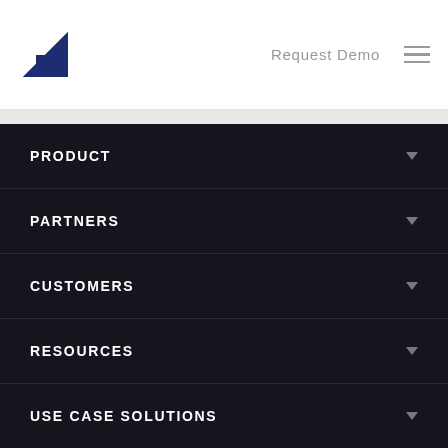Request Demo
PRODUCT
PARTNERS
CUSTOMERS
RESOURCES
USE CASE SOLUTIONS